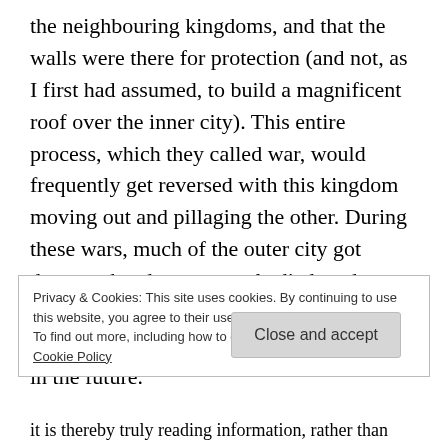the neighbouring kingdoms, and that the walls were there for protection (and not, as I first had assumed, to build a magnificent roof over the inner city). This entire process, which they called war, would frequently get reversed with this kingdom moving out and pillaging the other. During these wars, much of the outer city got destroyed and many people died, and some parts of the other kingdom were being annexed and would belong to this kingdom in the future.
Privacy & Cookies: This site uses cookies. By continuing to use this website, you agree to their use.
To find out more, including how to control cookies, see here: Cookie Policy
Close and accept
it is thereby truly reading information, rather than